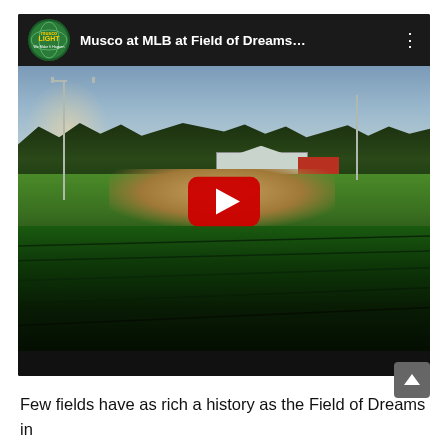[Figure (screenshot): YouTube video thumbnail showing 'Musco at MLB at Field of Dreams...' with a baseball field surrounded by cornfields, with a red YouTube play button in the center. The video is from the Musco Lighting channel.]
Few fields have as rich a history as the Field of Dreams in